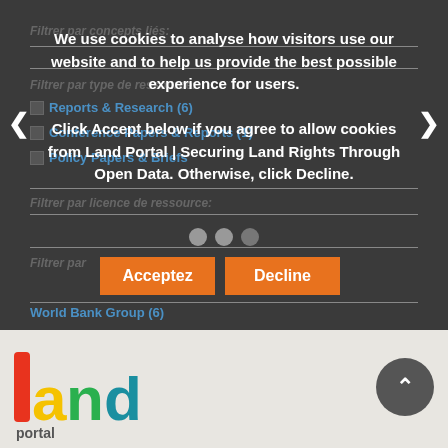Filtrer par concepts liés:
Filtrer par type de ressource:
Reports & Research (6)
Conference Papers & Reports (1)
Policy Papers & Briefs
Filtrer par licence de ressource:
Filtrer par
World Bank Group (6)
We use cookies to analyse how visitors use our website and to help us provide the best possible experience for users. Click Accept below if you agree to allow cookies from Land Portal | Securing Land Rights Through Open Data. Otherwise, click Decline.
Acceptez
Decline
[Figure (logo): Land Portal colorful logo with letter shapes forming the word 'land portal']